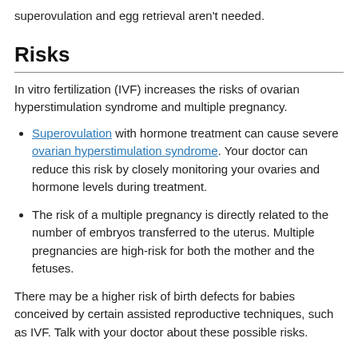superovulation and egg retrieval aren't needed.
Risks
In vitro fertilization (IVF) increases the risks of ovarian hyperstimulation syndrome and multiple pregnancy.
Superovulation with hormone treatment can cause severe ovarian hyperstimulation syndrome. Your doctor can reduce this risk by closely monitoring your ovaries and hormone levels during treatment.
The risk of a multiple pregnancy is directly related to the number of embryos transferred to the uterus. Multiple pregnancies are high-risk for both the mother and the fetuses.
There may be a higher risk of birth defects for babies conceived by certain assisted reproductive techniques, such as IVF. Talk with your doctor about these possible risks.
Embryo transfer success versus the risk of multiple pregnancy